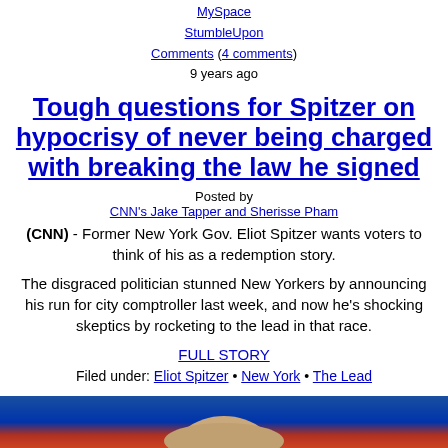MySpace
StumbleUpon
Comments (4 comments)
9 years ago
Tough questions for Spitzer on hypocrisy of never being charged with breaking the law he signed
Posted by
CNN's Jake Tapper and Sherisse Pham
(CNN) - Former New York Gov. Eliot Spitzer wants voters to think of his as a redemption story.
The disgraced politician stunned New Yorkers by announcing his run for city comptroller last week, and now he's shocking skeptics by rocketing to the lead in that race.
FULL STORY
Filed under: Eliot Spitzer • New York • The Lead
[Figure (photo): Photo strip at the bottom of the page showing a partial view of a person's face, with a blue and red background gradient]